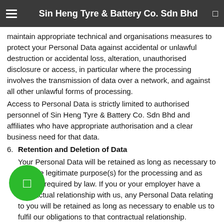Sin Heng Tyre & Battery Co. Sdn Bhd
maintain appropriate technical and organisations measures to protect your Personal Data against accidental or unlawful destruction or accidental loss, alteration, unauthorised disclosure or access, in particular where the processing involves the transmission of data over a network, and against all other unlawful forms of processing.
Access to Personal Data is strictly limited to authorised personnel of Sin Heng Tyre & Battery Co. Sdn Bhd and affiliates who have appropriate authorisation and a clear business need for that data.
6. Retention and Deletion of Data
Your Personal Data will be retained as long as necessary to fulfil the legitimate purpose(s) for the processing and as long as required by law. If you or your employer have a contractual relationship with us, any Personal Data relating to you will be retained as long as necessary to enable us to fulfil our obligations to that contractual relationship.
consent to certain processing, we store your Personal Data until you withdraw your consent or once the Personal Data is no longer necessary for achieving the purpose of the processing.